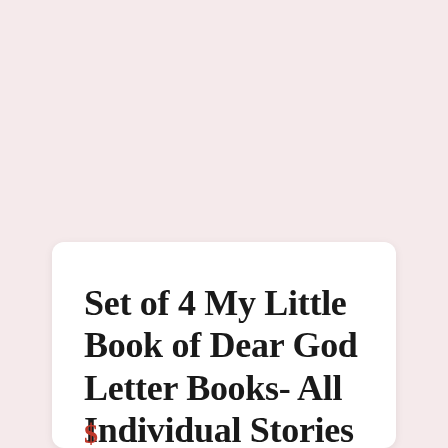Set of 4 My Little Book of Dear God Letter Books- All Individual Stories